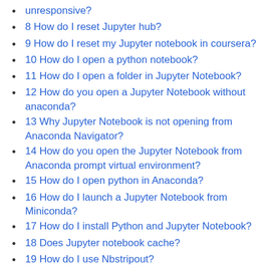unresponsive?
8 How do I reset Jupyter hub?
9 How do I reset my Jupyter notebook in coursera?
10 How do I open a python notebook?
11 How do I open a folder in Jupyter Notebook?
12 How do you open a Jupyter Notebook without anaconda?
13 Why Jupyter Notebook is not opening from Anaconda Navigator?
14 How do you open the Jupyter Notebook from Anaconda prompt virtual environment?
15 How do I open python in Anaconda?
16 How do I launch a Jupyter Notebook from Miniconda?
17 How do I install Python and Jupyter Notebook?
18 Does Jupyter notebook cache?
19 How do I use Nbstripout?
20 How do I update my Jupyter Notebook in Python?
21 How do I open a .PY file in Windows?